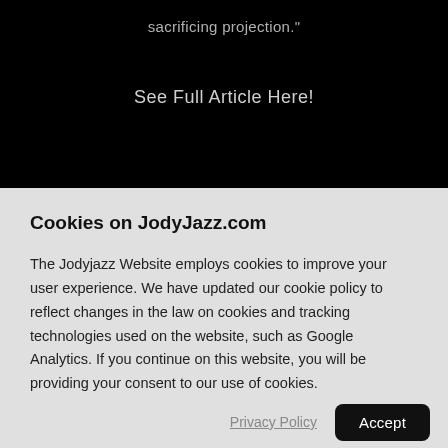sacrificing projection."
See Full Article Here!
Cookies on JodyJazz.com
The Jodyjazz Website employs cookies to improve your user experience. We have updated our cookie policy to reflect changes in the law on cookies and tracking technologies used on the website, such as Google Analytics. If you continue on this website, you will be providing your consent to our use of cookies.
Privacy Policy
Accept